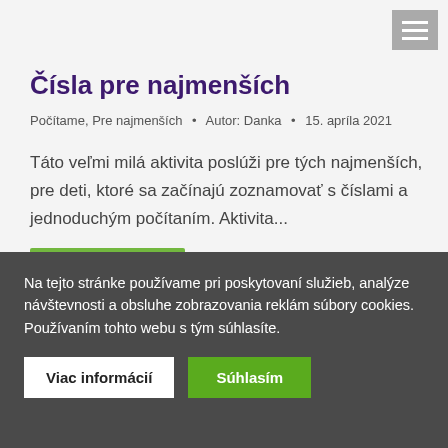Čísla pre najmenších
Počítame, Pre najmenších • Autor: Danka • 15. apríla 2021
Táto veľmi milá aktivita poslúži pre tých najmenších, pre deti, ktoré sa začínajú zoznamovať s číslami a jednoduchým počítaním. Aktivita...
Na tejto stránke používame pri poskytovaní služieb, analýze návštevnosti a obsluhe zobrazovania reklám súbory cookies. Používaním tohto webu s tým súhlasíte.
Viac informácií
Súhlasím